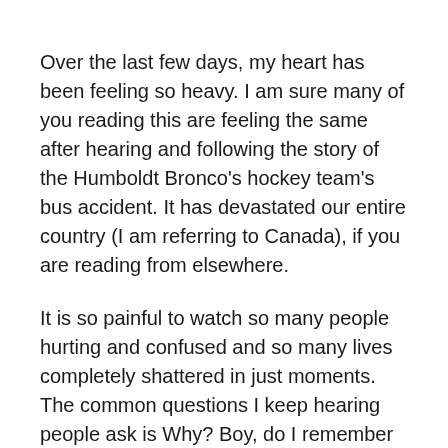Over the last few days, my heart has been feeling so heavy. I am sure many of you reading this are feeling the same after hearing and following the story of the Humboldt Bronco's hockey team's bus accident. It has devastated our entire country (I am referring to Canada), if you are reading from elsewhere.
It is so painful to watch so many people hurting and confused and so many lives completely shattered in just moments. The common questions I keep hearing people ask is Why? Boy, do I remember those days. The days of asking why? Why Nick? Why me? Why us? It takes a long time to stop asking that question but eventually you do. It takes a lot of time and a lot of hard work but eventually you stop. Eventually, you realize that so